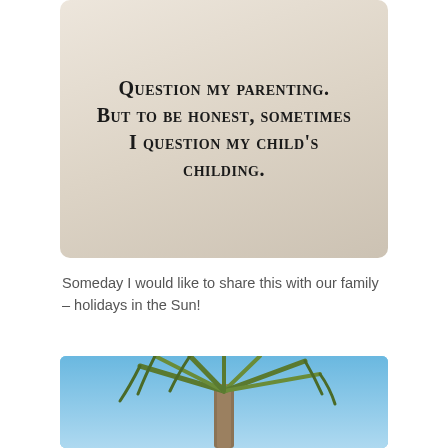[Figure (illustration): Humorous quote image with beige/tan background: text reads 'Question my parenting. But to be honest, sometimes I question my child's childing.']
Someday I would like to share this with our family – holidays in the Sun!
[Figure (photo): Photo of a palm tree top against a blue sky, viewed from below.]